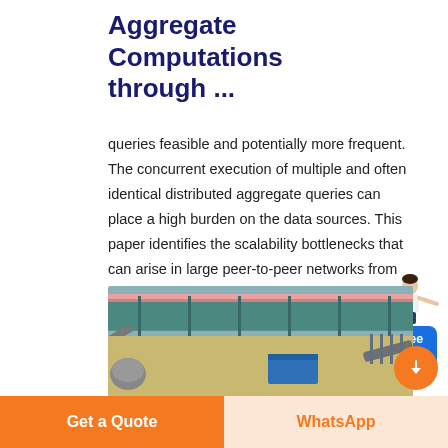Aggregate Computations through ...
queries feasible and potentially more frequent. The concurrent execution of multiple and often identical distributed aggregate queries can place a high burden on the data sources. This paper identifies the scalability bottlenecks that can arise in large peer-to-peer networks from the execution of ...
[Figure (photo): Industrial facility or construction site photographed from above, showing a large green/teal roofed structure with conveyor belts, sandy ground, and blue containers.]
Get a Quote   WhatsApp